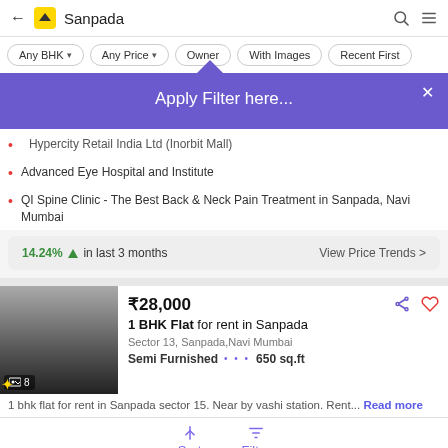Sanpada — search bar with back arrow, logo, search and menu icons
Any BHK ▾   Any Price ▾   Owner   With Images   Recent First
[Figure (screenshot): Purple tooltip popup with text 'Apply Filter here...' and a close X button, with upward pointing triangle indicator above]
Hypercity Retail India Ltd (Inorbit Mall)
Advanced Eye Hospital and Institute
QI Spine Clinic - The Best Back & Neck Pain Treatment in Sanpada, Navi Mumbai
14.24% ↑ in last 3 months   View Price Trends >
₹28,000
1 BHK Flat for rent in Sanpada
Sector 13, Sanpada, Navi Mumbai
Semi Furnished  |  650 sq.ft
1 bhk flat for rent in Sanpada sector 15. Near by vashi station. Rent... Read more
Vijay